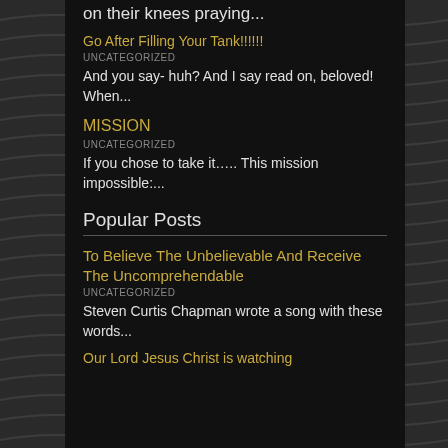on their knees praying...
Go After Filling Your Tank!!!!!!
UNCATEGORIZED
And you say- huh? And I say read on, beloved! When...
MISSION
UNCATEGORIZED
If you chose to take it….. This mission impossible:...
Popular Posts
To Believe The Unbelievable And Receive The Uncomprehendable
UNCATEGORIZED
Steven Curtis Chapman wrote a song with these words...
Our Lord Jesus Christ is watching